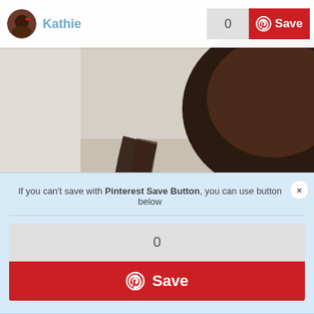[Figure (screenshot): Screenshot of a Pinterest-style webpage showing a user named Kathie with a profile avatar, a save button with count 0 in the top right, and a modal dialog overlay with Pinterest Save Button fallback UI. The background shows a blurred photo of a woman in a pink lace top with 'FREE' text visible.]
Kathie
0
Save
If you can't save with Pinterest Save Button, you can use button below
0
Save